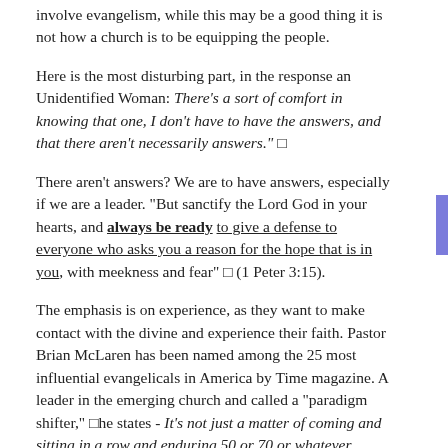involve evangelism, while this may be a good thing it is not how a church is to be equipping the people.
Here is the most disturbing part, in the response an Unidentified Woman: There's a sort of comfort in knowing that one, I don't have to have the answers, and that there aren't necessarily answers." 🔲
There aren't answers? We are to have answers, especially if we are a leader. "But sanctify the Lord God in your hearts, and always be ready to give a defense to everyone who asks you a reason for the hope that is in you, with meekness and fear" 🔲 (1 Peter 3:15).
The emphasis is on experience, as they want to make contact with the divine and experience their faith. Pastor Brian McLaren has been named among the 25 most influential evangelicals in America by Time magazine. A leader in the emerging church and called a "paradigm shifter," 🔲he states - It's not just a matter of coming and sitting in a row and enduring 50 or 70 or whatever minutes of absorbing...